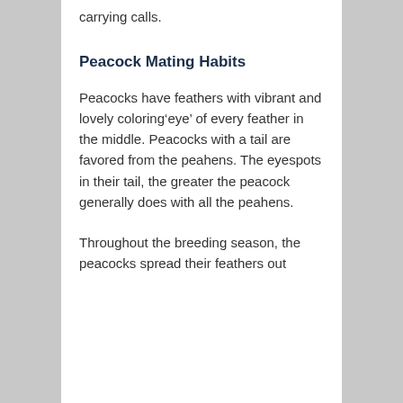carrying calls.
Peacock Mating Habits
Peacocks have feathers with vibrant and lovely coloring‘eye’ of every feather in the middle. Peacocks with a tail are favored from the peahens. The eyespots in their tail, the greater the peacock generally does with all the peahens.
Throughout the breeding season, the peacocks spread their feathers out